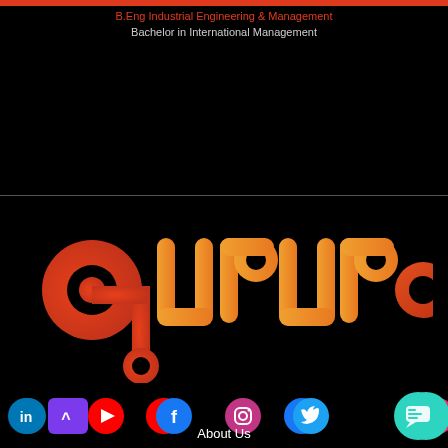B.Eng Industrial Engineering & Management
Bachelor in International Management
[Figure (logo): Gururo logo — stylized text 'gururo' in orange/red gradient on black background]
[Figure (infographic): Social media icons row: LinkedIn, purple arrow, YouTube, Facebook, Instagram, Twitter; teal chat bubble button on right]
About Us